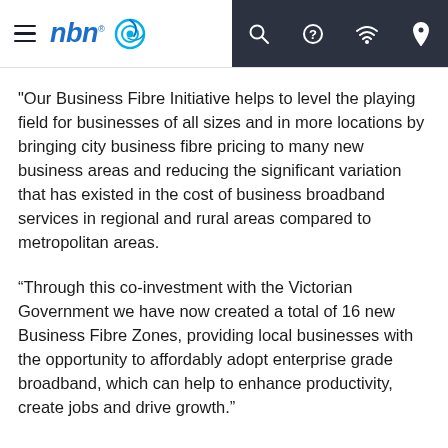nbn logo and navigation bar with hamburger menu, search, help, wifi, and location icons
"Our Business Fibre Initiative helps to level the playing field for businesses of all sizes and in more locations by bringing city business fibre pricing to many new business areas and reducing the significant variation that has existed in the cost of business broadband services in regional and rural areas compared to metropolitan areas.
“Through this co-investment with the Victorian Government we have now created a total of 16 new Business Fibre Zones, providing local businesses with the opportunity to affordably adopt enterprise grade broadband, which can help to enhance productivity, create jobs and drive growth.”